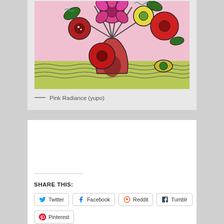[Figure (illustration): Colorful folk-art style painting of flowers in a vase on yupo paper. Features pink, red, and yellow flowers with dark outlines on a pink background with green wavy lines at the bottom.]
— Pink Radiance (yupo)
SHARE THIS:
Twitter
Facebook
Reddit
Tumblr
Pinterest